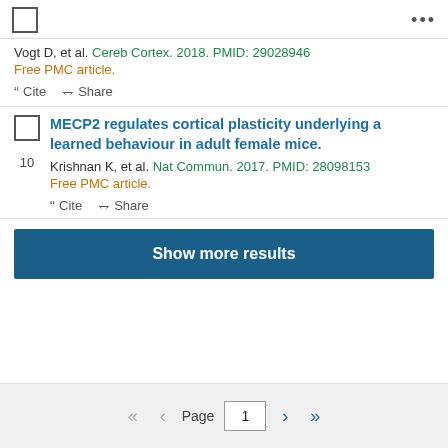Vogt D, et al. Cereb Cortex. 2018. PMID: 29028946
Free PMC article.
“” Cite  Share
MECP2 regulates cortical plasticity underlying a learned behaviour in adult female mice.
Krishnan K, et al. Nat Commun. 2017. PMID: 28098153
Free PMC article.
“” Cite  Share
Show more results
Page 1